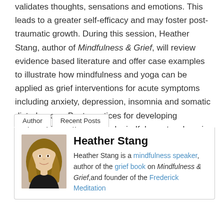validates thoughts, sensations and emotions. This leads to a greater self-efficacy and may foster post-traumatic growth. During this session, Heather Stang, author of Mindfulness & Grief, will review evidence based literature and offer case examples to illustrate how mindfulness and yoga can be applied as grief interventions for acute symptoms including anxiety, depression, insomnia and somatic disturbances. Best practices for developing partnerships with yoga and mindfulness teachers in your community will also be explored.
Author | Recent Posts
[Figure (photo): Photo of Heather Stang, a woman with long blonde hair wearing a dark top]
Heather Stang
Heather Stang is a mindfulness speaker, author of the grief book on Mindfulness & Grief,and founder of the Frederick Meditation